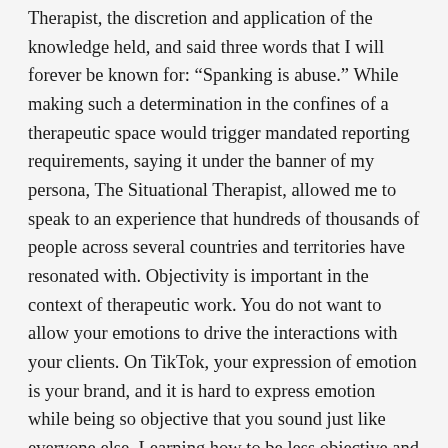Therapist, the discretion and application of the knowledge held, and said three words that I will forever be known for: “Spanking is abuse.” While making such a determination in the confines of a therapeutic space would trigger mandated reporting requirements, saying it under the banner of my persona, The Situational Therapist, allowed me to speak to an experience that hundreds of thousands of people across several countries and territories have resonated with. Objectivity is important in the context of therapeutic work. You do not want to allow your emotions to drive the interactions with your clients. On TikTok, your expression of emotion is your brand, and it is hard to express emotion while being so objective that you sound just like everyone else. Learning how to be less objective and finding my voice allowed me to stand out from the other therapists on TikTok.
There are many other lessons I had to learn during my time on TikTok: How to Handle Clinical Questions, How to Communicate with Current Clients About My Public Views, How to Establish Boundaries with Clients from Social Media, How to Deal With The Guilt Associated With The Substantial